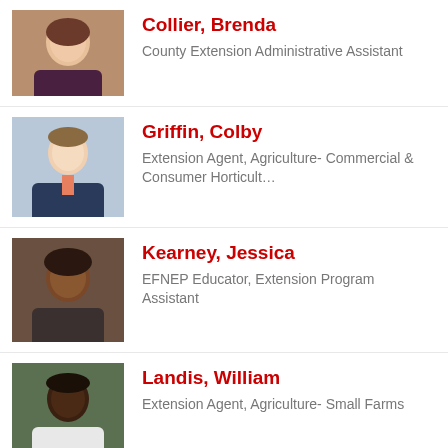[Figure (photo): Headshot of Brenda Collier, a woman with light skin and light hair, wearing a dark top and necklace]
Collier, Brenda
County Extension Administrative Assistant
[Figure (photo): Headshot of Colby Griffin, a man with light skin wearing a suit and tie]
Griffin, Colby
Extension Agent, Agriculture- Commercial & Consumer Horticult…
[Figure (photo): Headshot of Jessica Kearney, a woman with dark skin, smiling]
Kearney, Jessica
EFNEP Educator, Extension Program Assistant
[Figure (photo): Headshot of William Landis, a man with dark skin wearing a white shirt]
Landis, William
Extension Agent, Agriculture- Small Farms
[Figure (photo): Headshot of Charles Mitchell, a man with light skin wearing a red shirt and grey tie]
Mitchell, Charles
County Extension Director, Field Crops Agent & Pesticide Coo…